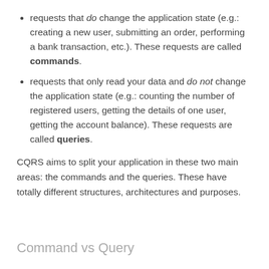requests that do change the application state (e.g.: creating a new user, submitting an order, performing a bank transaction, etc.). These requests are called commands.
requests that only read your data and do not change the application state (e.g.: counting the number of registered users, getting the details of one user, getting the account balance). These requests are called queries.
CQRS aims to split your application in these two main areas: the commands and the queries. These have totally different structures, architectures and purposes.
Command vs Query